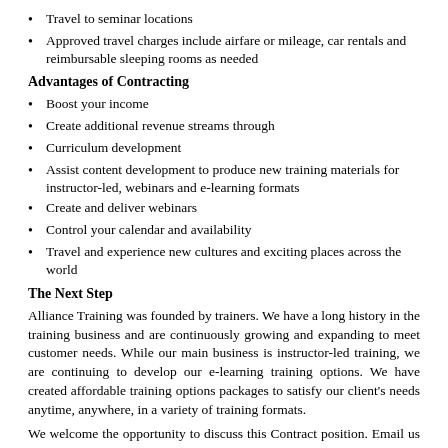Travel to seminar locations
Approved travel charges include airfare or mileage, car rentals and reimbursable sleeping rooms as needed
Advantages of Contracting
Boost your income
Create additional revenue streams through
Curriculum development
Assist content development to produce new training materials for instructor-led, webinars and e-learning formats
Create and deliver webinars
Control your calendar and availability
Travel and experience new cultures and exciting places across the world
The Next Step
Alliance Training was founded by trainers. We have a long history in the training business and are continuously growing and expanding to meet customer needs. While our main business is instructor-led training, we are continuing to develop our e-learning training options. We have created affordable training options packages to satisfy our client's needs anytime, anywhere, in a variety of training formats.
We welcome the opportunity to discuss this Contract position. Email us a copy of your resume and bio directly at trainer_opportunities@alliancetas.com. We will be more than happy to